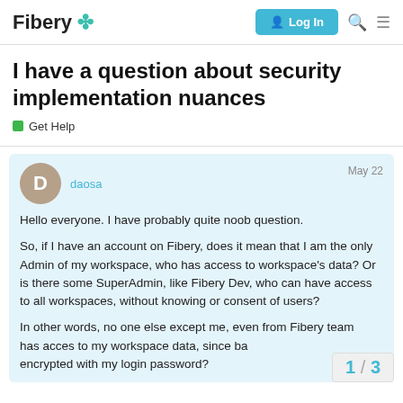Fibery 🍀 Log In
I have a question about security implementation nuances
Get Help
daosa  May 22
Hello everyone. I have probably quite noob question.

So, if I have an account on Fibery, does it mean that I am the only Admin of my workspace, who has access to workspace's data? Or is there some SuperAdmin, like Fibery Dev, who can have access to all workspaces, without knowing or consent of users?

In other words, no one else except me, even from Fibery team has acces to my workspace data, since ba... encrypted with my login password?